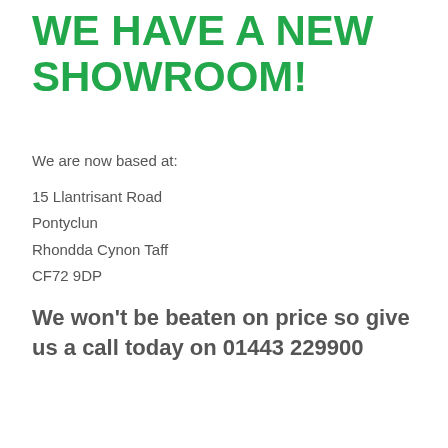WE HAVE A NEW SHOWROOM!
We are now based at:
15 Llantrisant Road
Pontyclun
Rhondda Cynon Taff
CF72 9DP
We won't be beaten on price so give us a call today on 01443 229900